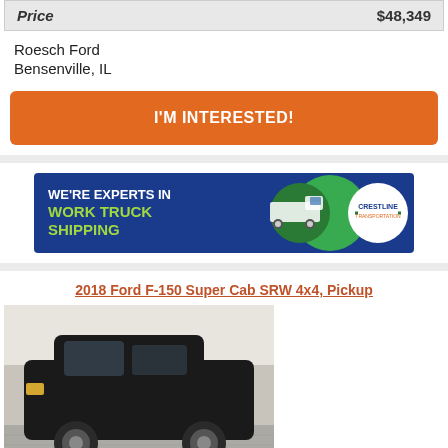| Price | $48,349 |
| --- | --- |
Roesch Ford
Bensenville, IL
I'M INTERESTED!
[Figure (infographic): Crestline ad banner: WE'RE EXPERTS IN WORK TRUCK SHIPPING with truck graphic and Crestline logo on dark blue background]
2018 Ford F-150 Super Cab SRW 4x4, Pickup
[Figure (photo): Black 2018 Ford F-150 Super Cab SRW 4x4 pickup truck parked in dealer showroom, Driver's Village dealer logo and phone number 1-315-233-5392 shown at bottom]